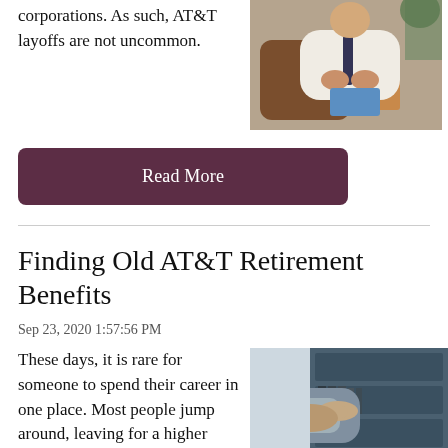corporations. As such, AT&T layoffs are not uncommon.
[Figure (photo): Person sitting with a cardboard box of belongings, appearing to have been laid off]
Read More
Finding Old AT&T Retirement Benefits
Sep 23, 2020 1:57:56 PM
These days, it is rare for someone to spend their career in one place. Most people jump around, leaving for a higher salary or
[Figure (photo): Person searching through filing cabinet folders]